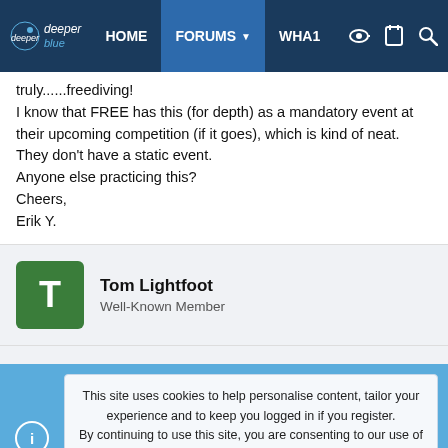deeper blue | HOME | FORUMS | WHAT
truly......freediving!
I know that FREE has this (for depth) as a mandatory event at their upcoming competition (if it goes), which is kind of neat. They don't have a static event.
Anyone else practicing this?
Cheers,
Erik Y.
Tom Lightfoot
Well-Known Member
This site uses cookies to help personalise content, tailor your experience and to keep you logged in if you register.
By continuing to use this site, you are consenting to our use of cookies.